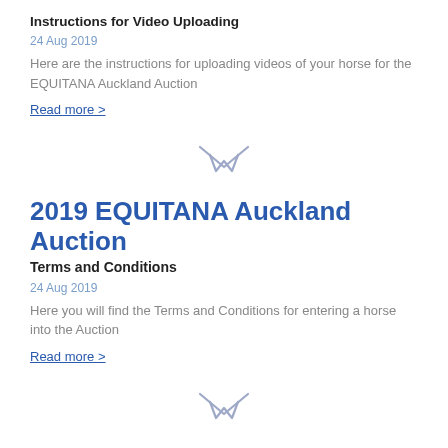Instructions for Video Uploading
24 Aug 2019
Here are the instructions for uploading videos of your horse for the EQUITANA Auckland Auction
Read more >
[Figure (illustration): Decorative divider icon with stylized W and chevron/arrow pointing down, in light purple/grey color]
2019 EQUITANA Auckland Auction
Terms and Conditions
24 Aug 2019
Here you will find the Terms and Conditions for entering a horse into the Auction
Read more >
[Figure (illustration): Decorative divider icon with stylized W and chevron/arrow pointing down, in light purple/grey color]